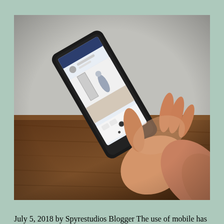[Figure (photo): A hand holding a smartphone tilted diagonally, displaying what appears to be an Instagram or social media feed with a room/interior photo. The background shows a blurred wooden surface and light gray wall.]
July 5, 2018 by Spyrestudios Blogger The use of mobile has far surpassed desktop usage. People spend more time on their phones than